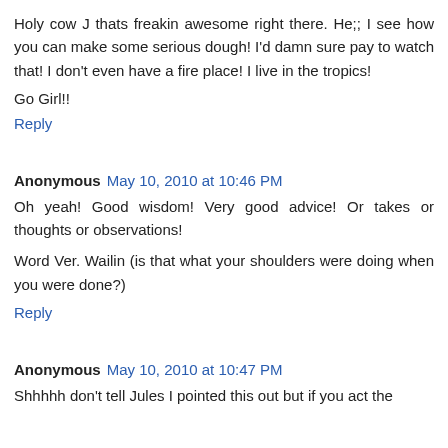Holy cow J thats freakin awesome right there. He;; I see how you can make some serious dough! I'd damn sure pay to watch that! I don't even have a fire place! I live in the tropics!
Go Girl!!
Reply
Anonymous May 10, 2010 at 10:46 PM
Oh yeah! Good wisdom! Very good advice! Or takes or thoughts or observations!
Word Ver. Wailin (is that what your shoulders were doing when you were done?)
Reply
Anonymous May 10, 2010 at 10:47 PM
Shhhhh don't tell Jules I pointed this out but if you act the